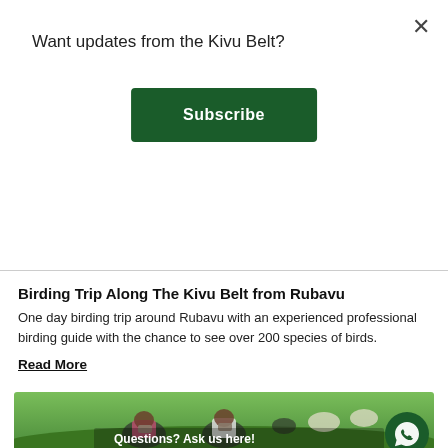Want updates from the Kivu Belt?
Subscribe
Birding Trip Along The Kivu Belt from Rubavu
One day birding trip around Rubavu with an experienced professional birding guide with the chance to see over 200 species of birds.
Read More
[Figure (photo): Two people sitting on green hillside grass holding binoculars up to their faces, with cattle/goats grazing in the background and other people visible. A WhatsApp chat bubble is overlaid in the bottom right with text 'Questions? Ask us here!']